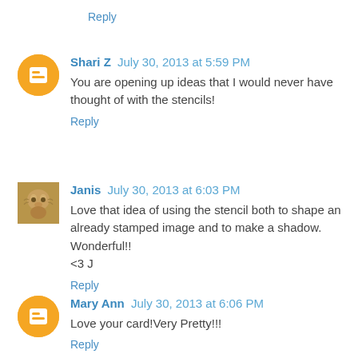Reply
Shari Z  July 30, 2013 at 5:59 PM
You are opening up ideas that I would never have thought of with the stencils!
Reply
Janis  July 30, 2013 at 6:03 PM
Love that idea of using the stencil both to shape an already stamped image and to make a shadow. Wonderful!!
<3 J
Reply
Mary Ann  July 30, 2013 at 6:06 PM
Love your card!Very Pretty!!!
Reply